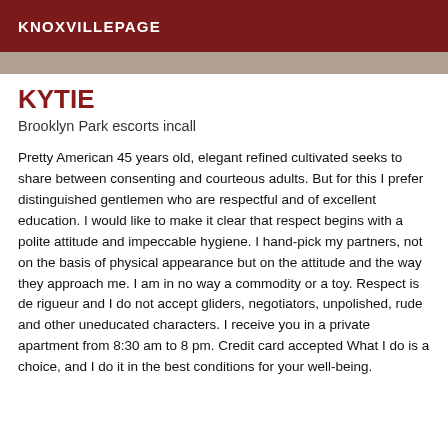KNOXVILLEPAGE
KYTIE
Brooklyn Park escorts incall
Pretty American 45 years old, elegant refined cultivated seeks to share between consenting and courteous adults. But for this I prefer distinguished gentlemen who are respectful and of excellent education. I would like to make it clear that respect begins with a polite attitude and impeccable hygiene. I hand-pick my partners, not on the basis of physical appearance but on the attitude and the way they approach me. I am in no way a commodity or a toy. Respect is de rigueur and I do not accept gliders, negotiators, unpolished, rude and other uneducated characters. I receive you in a private apartment from 8:30 am to 8 pm. Credit card accepted What I do is a choice, and I do it in the best conditions for your well-being.